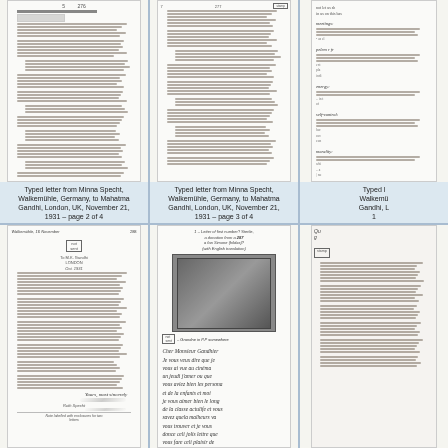[Figure (photo): Scanned typed letter document, page 2 of 4, with dense text paragraphs and page number 276]
Typed letter from Minna Specht, Walkemühle, Germany, to Mahatma Gandhi, London, UK, November 21, 1931 – page 2 of 4
[Figure (photo): Scanned typed letter document, page 3 of 4, with dense text paragraphs and page number 277]
Typed letter from Minna Specht, Walkemühle, Germany, to Mahatma Gandhi, London, UK, November 21, 1931 – page 3 of 4
[Figure (photo): Partial view of typed letter document, page 4 of 4, with right-side column text including categories: meetings, energy, self-control, morality]
Typed letter from Minna Specht, Walkemühle, Germany, to Mahatma Gandhi, London, UK, November 21, 1931 –
[Figure (photo): Scanned typed letter with stamp, page 288, signed document with signature at bottom]
[Figure (photo): Handwritten letter in French with photograph/image embedded, page with annotation 'Letter of first number? Sterile, a donation from a 287 a fan Simone (hildas)? (with English translation)', includes photo of group scene and handwritten French text beginning 'Cher Monsieur Gandhier Je vous veux dire que je vous ai vue au cinéma un jeudi j'amer ou que vous aviez bien les persona et de la enfants et moi je vous aimer bien le long de la classe actulife et vous savez quela malheurs va vous trouver et je vous donce celi jolis lettre que vous fare celi plaisir de']
[Figure (photo): Partial view of third document in bottom row, partially cropped, showing typed text with stamp]